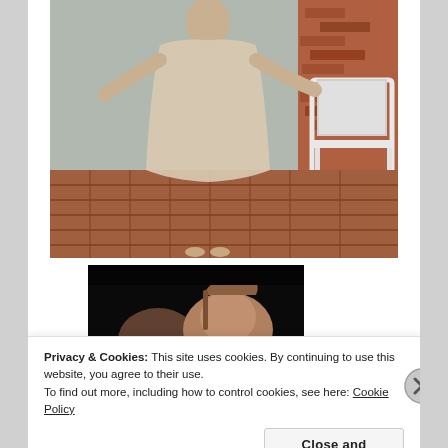[Figure (photo): A person wearing a long flowy dress or robe standing on a brick patio, with white chairs visible in the background against a brick wall.]
[Figure (photo): A dark photo showing two people, one appears to be a child and one an older girl or woman, photographed in low light.]
Privacy & Cookies: This site uses cookies. By continuing to use this website, you agree to their use.
To find out more, including how to control cookies, see here: Cookie Policy
Close and accept